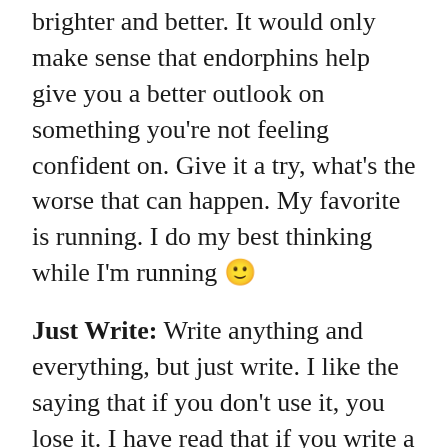brighter and better. It would only make sense that endorphins help give you a better outlook on something you're not feeling confident on. Give it a try, what's the worse that can happen. My favorite is running. I do my best thinking while I'm running 🙂
Just Write: Write anything and everything, but just write. I like the saying that if you don't use it, you lose it. I have read that if you write a little bit every day, you will become a better writer. I think that's true but I also think you can get burned out easily. During one of my creative writing classes my teacher would set the timer for ten minutes and we were required to write continually for that period of time. It didn't matter if you write, 'what am I going to